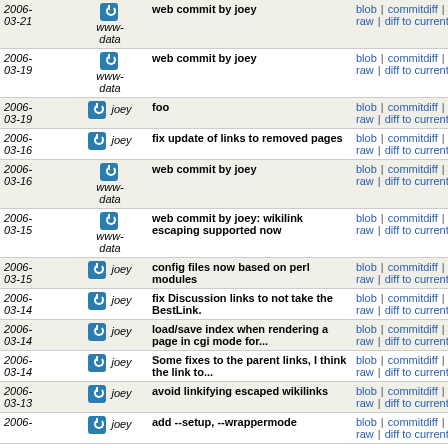| Date | User | Message | Links |
| --- | --- | --- | --- |
| 2006-03-21 | www-data | web commit by joey | blob | commitdiff | raw | diff to current |
| 2006-03-19 | www-data | web commit by joey | blob | commitdiff | raw | diff to current |
| 2006-03-19 | joey | foo | blob | commitdiff | raw | diff to current |
| 2006-03-16 | joey | fix update of links to removed pages | blob | commitdiff | raw | diff to current |
| 2006-03-16 | www-data | web commit by joey | blob | commitdiff | raw | diff to current |
| 2006-03-15 | www-data | web commit by joey: wikilink escaping supported now | blob | commitdiff | raw | diff to current |
| 2006-03-15 | joey | config files now based on perl modules | blob | commitdiff | raw | diff to current |
| 2006-03-14 | joey | fix Discussion links to not take the BestLink. | blob | commitdiff | raw | diff to current |
| 2006-03-14 | joey | load/save index when rendering a page in cgi mode for... | blob | commitdiff | raw | diff to current |
| 2006-03-14 | joey | Some fixes to the parent links, I think the link to... | blob | commitdiff | raw | diff to current |
| 2006-03-13 | joey | avoid linkifying escaped wikilinks | blob | commitdiff | raw | diff to current |
| 2006- | joey | add --setup, --wrappermode | blob | commitdiff | raw | diff to current |